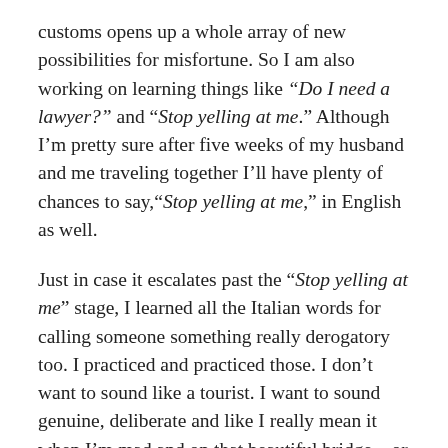customs opens up a whole array of new possibilities for misfortune. So I am also working on learning things like “Do I need a lawyer?” and “Stop yelling at me.” Although I’m pretty sure after five weeks of my husband and me traveling together I’ll have plenty of chances to say,“Stop yelling at me,” in English as well.
Just in case it escalates past the “Stop yelling at me” stage, I learned all the Italian words for calling someone something really derogatory too. I practiced and practiced those. I don’t want to sound like a tourist. I want to sound genuine, deliberate and like I really mean it when I’m mad and on that beautiful bridge…or in that ambulance, or emergency shelter, or police station. Honestly, if we get through the trip without an assault charge on either of us, I’ll consider the voyage a success.
And then there’s my husband who has some food